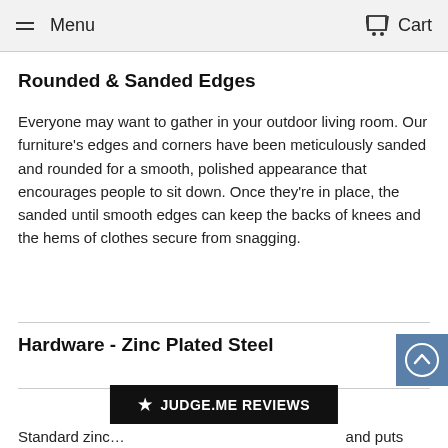Menu  Cart
Rounded & Sanded Edges
Everyone may want to gather in your outdoor living room. Our furniture's edges and corners have been meticulously sanded and rounded for a smooth, polished appearance that encourages people to sit down. Once they're in place, the sanded until smooth edges can keep the backs of knees and the hems of clothes secure from snagging.
Hardware - Zinc Plated Steel
Standard zinc... and puts
[Figure (other): Judge.me Reviews banner with star icon]